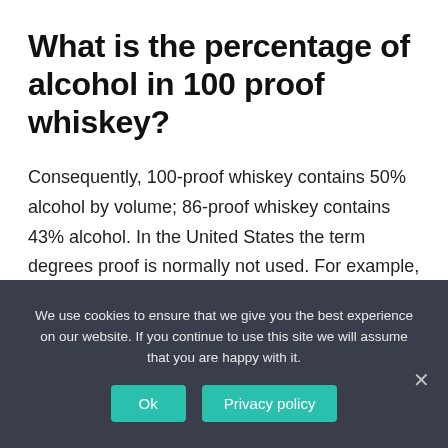What is the percentage of alcohol in 100 proof whiskey?
Consequently, 100-proof whiskey contains 50% alcohol by volume; 86-proof whiskey contains 43% alcohol. In the United States the term degrees proof is normally not used. For example, 50% ABV would be described as 100 proof rather than 100 degrees proof.
We use cookies to ensure that we give you the best experience on our website. If you continue to use this site we will assume that you are happy with it.